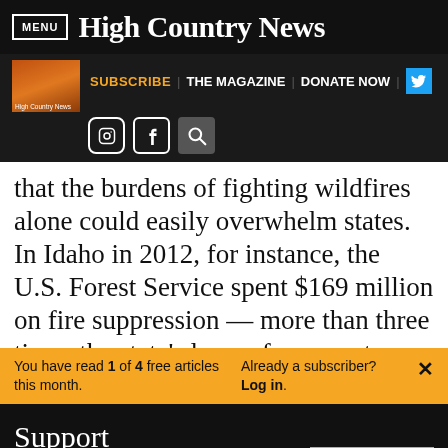MENU | High Country News
SUBSCRIBE | THE MAGAZINE | DONATE NOW
that the burdens of fighting wildfires alone could easily overwhelm states. In Idaho in 2012, for instance, the U.S. Forest Service spent $169 million on fire suppression — more than three times the state's law enforcement spending
You have read 1 of 4 free articles this month. Already a subscriber? Log in.
Support independent journalism. Subscribe